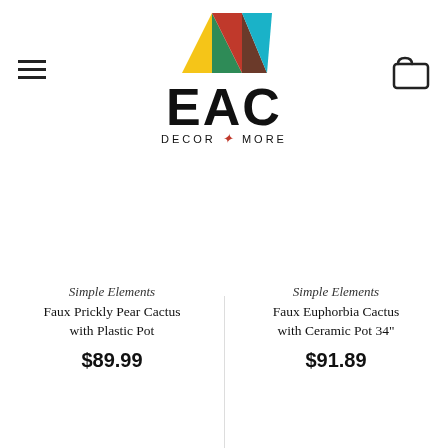[Figure (logo): EAC Decor + More logo with colorful geometric triangles above the text EAC and tagline DECOR + MORE]
Simple Elements
Faux Prickly Pear Cactus with Plastic Pot
$89.99
Simple Elements
Faux Euphorbia Cactus with Ceramic Pot 34"
$91.89